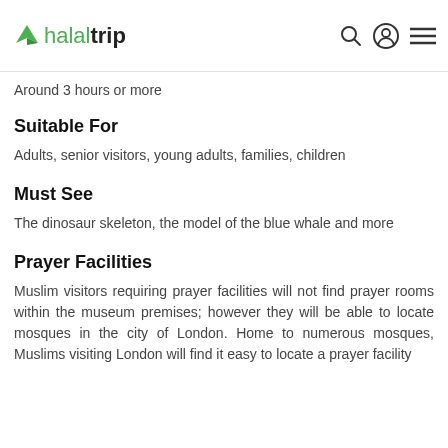halaltrip
Around 3 hours or more
Suitable For
Adults, senior visitors, young adults, families, children
Must See
The dinosaur skeleton, the model of the blue whale and more
Prayer Facilities
Muslim visitors requiring prayer facilities will not find prayer rooms within the museum premises; however they will be able to locate mosques in the city of London. Home to numerous mosques, Muslims visiting London will find it easy to locate a prayer facility